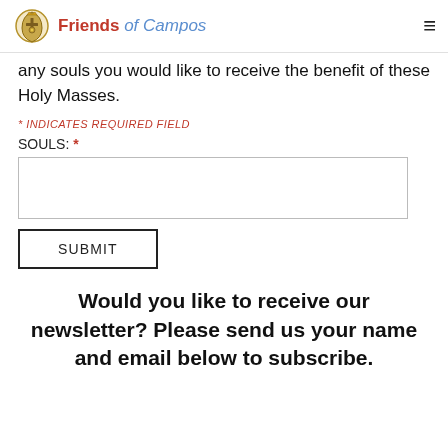Friends of Campos
any souls you would like to receive the benefit of these Holy Masses.
* INDICATES REQUIRED FIELD
SOULS: *
SUBMIT
Would you like to receive our newsletter? Please send us your name and email below to subscribe.